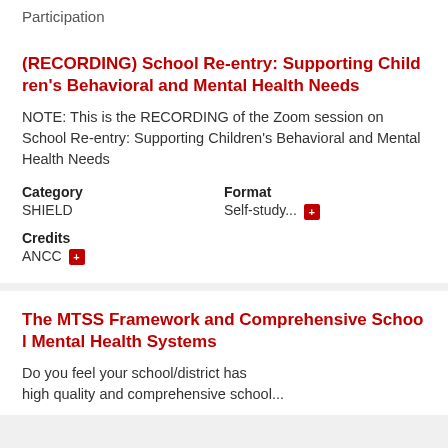Participation
(RECORDING) School Re-entry: Supporting Children's Behavioral and Mental Health Needs
NOTE: This is the RECORDING of the Zoom session on School Re-entry: Supporting Children's Behavioral and Mental Health Needs
Category
SHIELD
Format
Self-study...
Credits
ANCC
The MTSS Framework and Comprehensive School Mental Health Systems
Do you feel your school/district has high quality and comprehensive school...